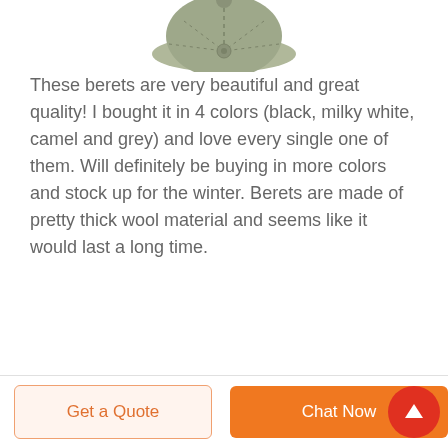[Figure (photo): Partial top view of a grey/olive colored beret hat, cropped at the top of the page]
These berets are very beautiful and great quality! I bought it in 4 colors (black, milky white, camel and grey) and love every single one of them. Will definitely be buying in more colors and stock up for the winter. Berets are made of pretty thick wool material and seems like it would last a long time.
Get a Quote   Chat Now